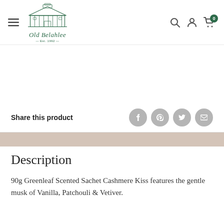[Figure (logo): Old Belahlee logo: illustration of a heritage building/house in dark green with text 'Old Belahlee' and 'Est. 1992' beneath]
Share this product
Description
90g Greenleaf Scented Sachet Cashmere Kiss features the gentle musk of Vanilla, Patchouli & Vetiver.